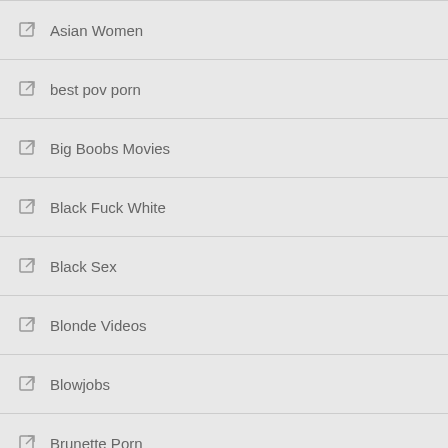Asian Women
best pov porn
Big Boobs Movies
Black Fuck White
Black Sex
Blonde Videos
Blowjobs
Brunette Porn
Cumshots